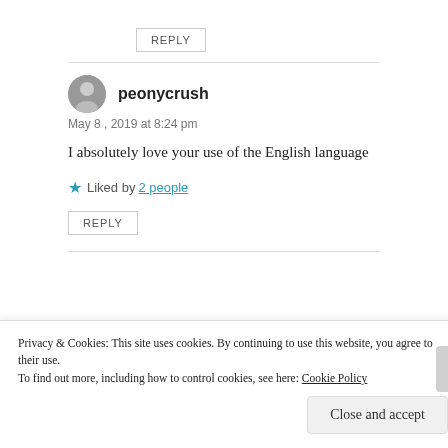REPLY
peonycrush
May 8, 2019 at 8:24 pm
I absolutely love your use of the English language
Liked by 2 people
REPLY
Privacy & Cookies: This site uses cookies. By continuing to use this website, you agree to their use. To find out more, including how to control cookies, see here: Cookie Policy
Close and accept